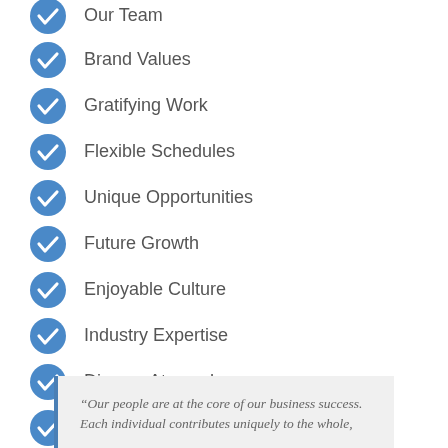Our Team
Brand Values
Gratifying Work
Flexible Schedules
Unique Opportunities
Future Growth
Enjoyable Culture
Industry Expertise
Diverse Atmosphere
Ability to Make a Difference
“Our people are at the core of our business success. Each individual contributes uniquely to the whole,